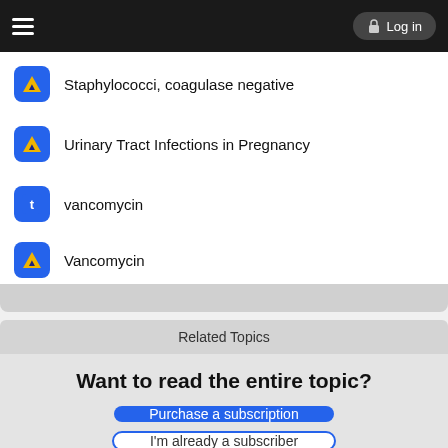Log in
Staphylococci, coagulase negative
Urinary Tract Infections in Pregnancy
vancomycin
Vancomycin
Related Topics
Want to read the entire topic?
Purchase a subscription
I'm already a subscriber
Browse sample topics